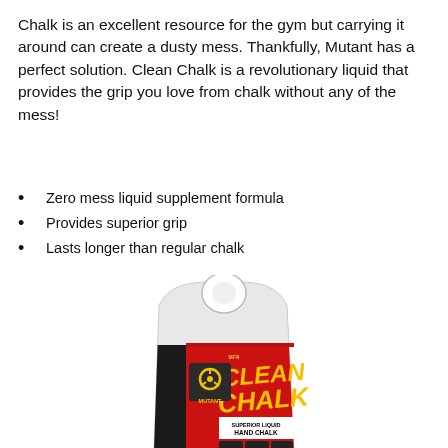Chalk is an excellent resource for the gym but carrying it around can create a dusty mess. Thankfully, Mutant has a perfect solution. Clean Chalk is a revolutionary liquid that provides the grip you love from chalk without any of the mess!
Zero mess liquid supplement formula
Provides superior grip
Lasts longer than regular chalk
[Figure (photo): Mutant Clean Chalk product bottle — white rounded container with red label showing 'CLEAN CHALK SUPERIOR LIQUID HAND CHALK 1.69 FL OZ (50 ML) ABOUT 50 USES', Mutant biohazard logo, and three icon badges.]